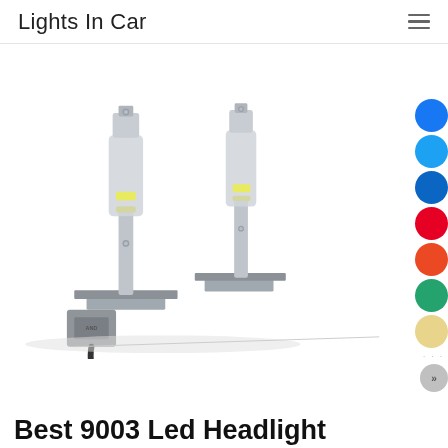Lights In Car
[Figure (photo): Two silver LED headlight bulbs (9003 type) with yellow LED chips, showing the bulb assemblies with mounting hardware and wiring]
Best 9003 Led Headlight